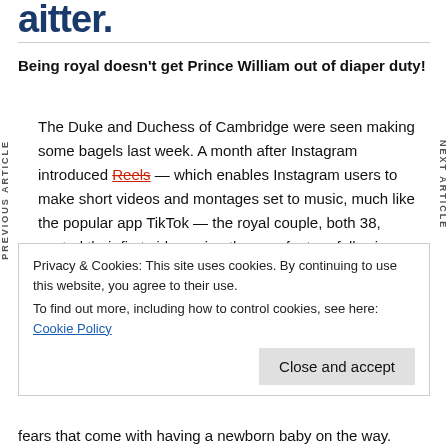aitter.
Being royal doesn't get Prince William out of diaper duty!
The Duke and Duchess of Cambridge were seen making some bagels last week. A month after Instagram introduced Reels — which enables Instagram users to make short videos and montages set to music, much like the popular app TikTok — the royal couple, both 38, posted their first video using the new feature following their visit to
Privacy & Cookies: This site uses cookies. By continuing to use this website, you agree to their use.
To find out more, including how to control cookies, see here: Cookie Policy
fears that come with having a newborn baby on the way.